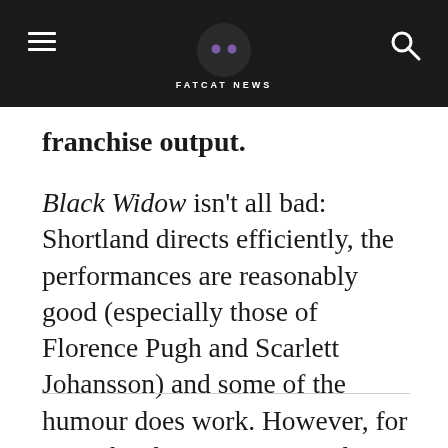FATCAT NEWS
franchise output.
Black Widow isn't all bad: Shortland directs efficiently, the performances are reasonably good (especially those of Florence Pugh and Scarlett Johansson) and some of the humour does work. However, for every hit there is a miss and although the darker side of Black Widow does make the film feel somewhat fresh, in many other ways it fails to be enough to separate this latest Marvel Studios release from your typical mid-tier entry into the MCU.